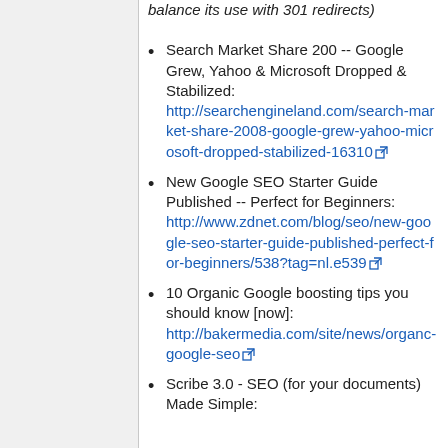balance its use with 301 redirects)
Search Market Share 200 -- Google Grew, Yahoo & Microsoft Dropped & Stabilized: http://searchengineland.com/search-market-share-2008-google-grew-yahoo-microsoft-dropped-stabilized-16310
New Google SEO Starter Guide Published -- Perfect for Beginners: http://www.zdnet.com/blog/seo/new-google-seo-starter-guide-published-perfect-for-beginners/538?tag=nl.e539
10 Organic Google boosting tips you should know [now]: http://bakermedia.com/site/news/organc-google-seo
Scribe 3.0 - SEO (for your documents) Made Simple: